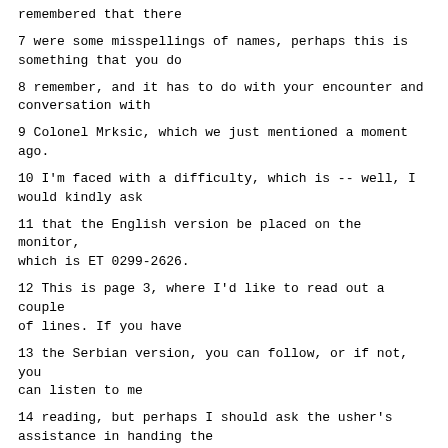remembered that there
7 were some misspellings of names, perhaps this is something that you do
8 remember, and it has to do with your encounter and conversation with
9 Colonel Mrksic, which we just mentioned a moment ago.
10 I'm faced with a difficulty, which is -- well, I would kindly ask
11 that the English version be placed on the monitor, which is ET 0299-2626.
12 This is page 3, where I'd like to read out a couple of lines. If you have
13 the Serbian version, you can follow, or if not, you can listen to me
14 reading, but perhaps I should ask the usher's assistance in handing the
15 witness the statement.
16 JUDGE PARKER: While that is happening, Mr. Domazet, page 46 on
17 our screen, line 17, I think the answer was -- or your question was which